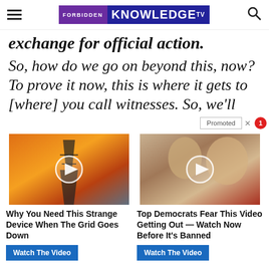FORBIDDEN KNOWLEDGE TV
exchange for official action.
So, how do we go on beyond this, now? To prove it now, this is where it gets to [where] you call witnesses. So, we'll call witnesses. An
[Figure (screenshot): Promoted content bar with X close button and notification badge]
[Figure (screenshot): Promo thumbnail: power transmission tower against orange sky with play button overlay]
[Figure (screenshot): Promo thumbnail: Melania and Donald Trump with play button overlay]
Why You Need This Strange Device When The Grid Goes Down
Top Democrats Fear This Video Getting Out — Watch Now Before It's Banned
Watch The Video
Watch The Video